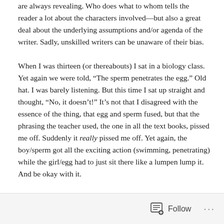are always revealing. Who does what to whom tells the reader a lot about the characters involved—but also a great deal about the underlying assumptions and/or agenda of the writer. Sadly, unskilled writers can be unaware of their bias.

When I was thirteen (or thereabouts) I sat in a biology class. Yet again we were told, “The sperm penetrates the egg.” Old hat. I was barely listening. But this time I sat up straight and thought, “No, it doesn’t!” It’s not that I disagreed with the essence of the thing, that egg and sperm fused, but that the phrasing the teacher used, the one in all the text books, pissed me off. Suddenly it really pissed me off. Yet again, the boy/sperm got all the exciting action (swimming, penetrating) while the girl/egg had to just sit there like a lumpen lump it. And be okay with it.
Follow ···